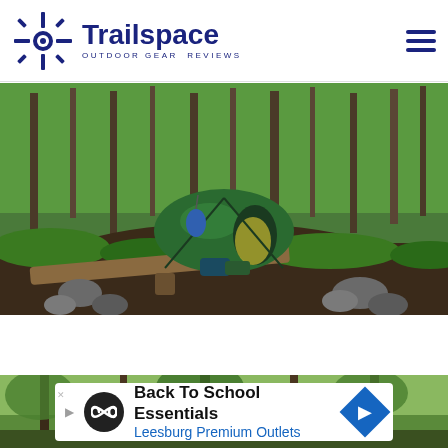Trailspace — Outdoor Gear Reviews
[Figure (photo): A green dome tent set up at a forest campsite with a log bench, fire ring made of rocks, and lush green trees in the background. A blue item hangs near the tent entrance.]
[Figure (photo): Partial view of a forest with tall trees, partially obscured by an advertisement banner.]
[Figure (infographic): Advertisement banner: 'Back To School Essentials — Leesburg Premium Outlets' with a circular logo icon and diamond-shaped navigation arrow.]